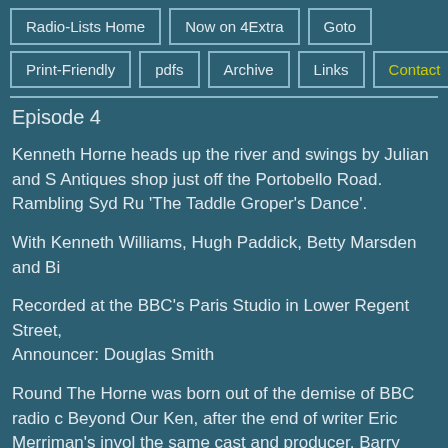Radio-Lists Home | Now on 4Extra | Goto | Print-Friendly | pdfs | Archive | Links | Contact
Episode 4
Kenneth Horne heads up the river and swings by Julian and S Antiques shop just off the Portobello Road. Rambling Syd Ru 'The Taddle Groper's Dance'.
With Kenneth Williams, Hugh Paddick, Betty Marsden and Bi
Recorded at the BBC's Paris Studio in Lower Regent Street, Announcer: Douglas Smith
Round The Horne was born out of the demise of BBC radio c Beyond Our Ken, after the end of writer Eric Merriman's invol the same cast and producer, Barry Took and Marty Feldman persuaded to write the scripts - which led to four series that ra 1965 and 1968 - packed full of parodies, recurring characters catchphrases and double-entendres.